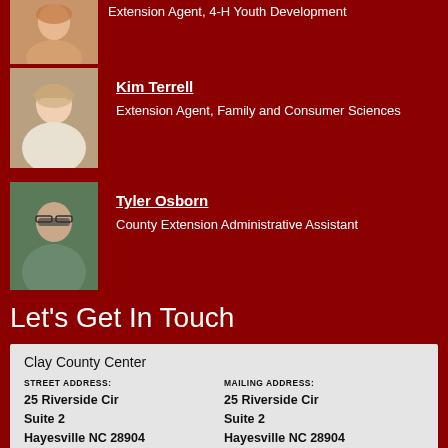[Figure (photo): Headshot of a woman, Extension Agent 4-H Youth Development]
Extension Agent, 4-H Youth Development
[Figure (photo): Headshot of Kim Terrell, a woman with blonde hair]
Kim Terrell
Extension Agent, Family and Consumer Sciences
[Figure (photo): Headshot of Tyler Osborn, a man with glasses]
Tyler Osborn
County Extension Administrative Assistant
Let's Get In Touch
Clay County Center
STREET ADDRESS:
25 Riverside Cir
Suite 2
Hayesville NC 28904
MAILING ADDRESS:
25 Riverside Cir
Suite 2
Hayesville NC 28904